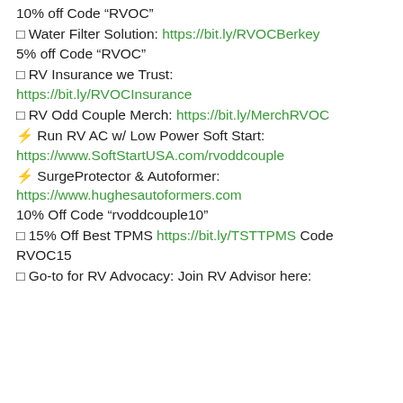10% off Code “RVOC”
□ Water Filter Solution: https://bit.ly/RVOCBerkey
5% off Code “RVOC”
□ RV Insurance we Trust: https://bit.ly/RVOCInsurance
□ RV Odd Couple Merch: https://bit.ly/MerchRVOC
⚡ Run RV AC w/ Low Power Soft Start: https://www.SoftStartUSA.com/rvoddcouple
⚡ SurgeProtector & Autoformer: https://www.hughesautoformers.com
10% Off Code “rvoddcouple10”
□ 15% Off Best TPMS https://bit.ly/TSTTPMS Code RVOC15
□ Go-to for RV Advocacy: Join RV Advisor here: